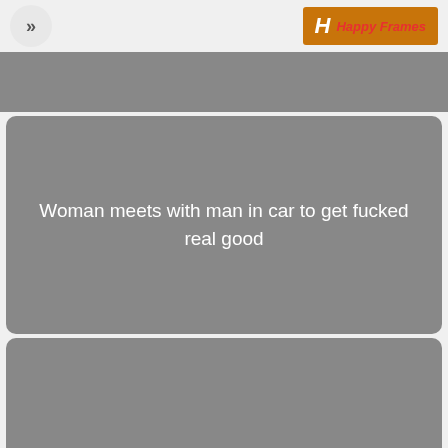>> HappyFrames
[Figure (screenshot): Gray banner placeholder image area at top]
Woman meets with man in car to get fucked real good
[Figure (screenshot): Gray card placeholder image area at bottom]